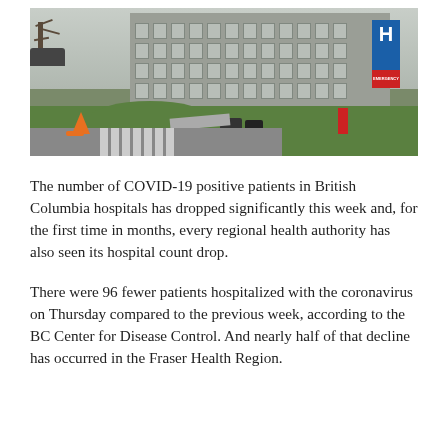[Figure (photo): Exterior photo of a hospital building with a concrete facade, a large blue 'H' sign with an Emergency marker, green grass, an orange construction cone, a crosswalk, and bare trees in the foreground.]
The number of COVID-19 positive patients in British Columbia hospitals has dropped significantly this week and, for the first time in months, every regional health authority has also seen its hospital count drop.
There were 96 fewer patients hospitalized with the coronavirus on Thursday compared to the previous week, according to the BC Center for Disease Control. And nearly half of that decline has occurred in the Fraser Health Region.